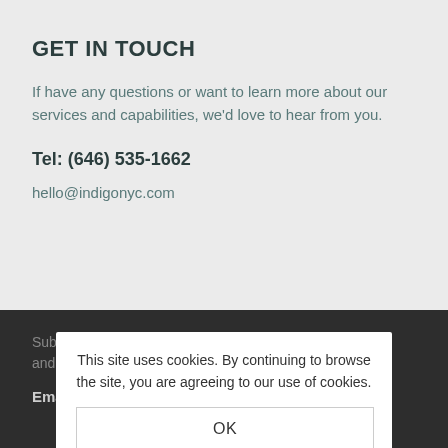GET IN TOUCH
If have any questions or want to learn more about our services and capabilities, we'd love to hear from you.
Tel: (646) 535-1662
hello@indigonyc.com
Subscribe to our newsletter and stay up to-date with news and social stuff.
Email *
This site uses cookies. By continuing to browse the site, you are agreeing to our use of cookies.